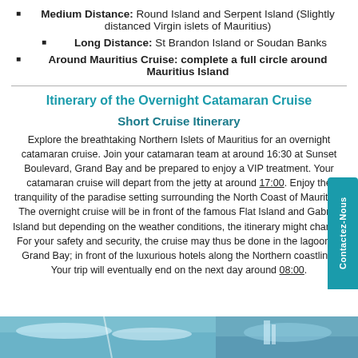Medium Distance: Round Island and Serpent Island (Slightly distanced Virgin islets of Mauritius)
Long Distance: St Brandon Island or Soudan Banks
Around Mauritius Cruise: complete a full circle around Mauritius Island
Itinerary of the Overnight Catamaran Cruise
Short Cruise Itinerary
Explore the breathtaking Northern Islets of Mauritius for an overnight catamaran cruise. Join your catamaran team at around 16:30 at Sunset Boulevard, Grand Bay and be prepared to enjoy a VIP treatment. Your catamaran cruise will depart from the jetty at around 17:00. Enjoy the tranquility of the paradise setting surrounding the North Coast of Mauritius. The overnight cruise will be in front of the famous Flat Island and Gabriel Island but depending on the weather conditions, the itinerary might change. For your safety and security, the cruise may thus be done in the lagoon of Grand Bay; in front of the luxurious hotels along the Northern coastline. Your trip will eventually end on the next day around 08:00.
[Figure (photo): Two-panel photo strip showing catamaran cruise scenes at the bottom of the page]